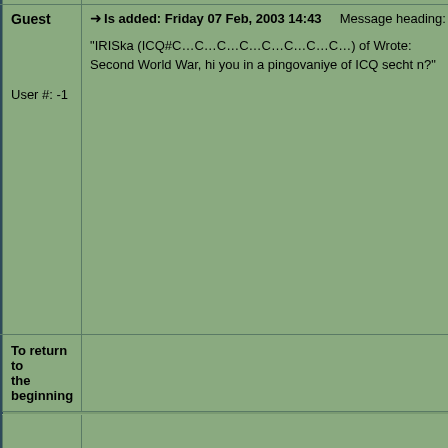| Guest
User #: -1 | → Is added: Friday 07 Feb, 2003 14:43   Message heading: Вот, спросили :

"IRISka (ICQ#C…C…C…C…C…C…C…C…) of Wrote:
Second World War, hi you in a pingovaniye of ICQ secht n?" |
| To return to the beginning |  |